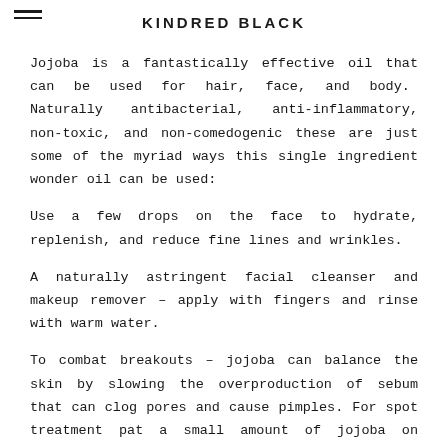KINDRED BLACK
Jojoba is a fantastically effective oil that can be used for hair, face, and body. Naturally antibacterial, anti-inflammatory, non-toxic, and non-comedogenic these are just some of the myriad ways this single ingredient wonder oil can be used:
Use a few drops on the face to hydrate, replenish, and reduce fine lines and wrinkles.
A naturally astringent facial cleanser and makeup remover – apply with fingers and rinse with warm water.
To combat breakouts – jojoba can balance the skin by slowing the overproduction of sebum that can clog pores and cause pimples. For spot treatment pat a small amount of jojoba on affected area after cleansing and let it absorb into skin or use a few drops allover the face as you would your normal face oil.